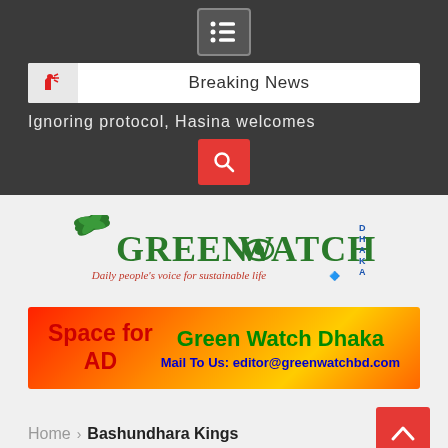Breaking News
Ignoring protocol, Hasina welcomes
[Figure (logo): Green Watch Dhaka logo with tagline: Daily people's voice for sustainable life]
[Figure (infographic): Advertisement banner: Space for AD | Green Watch Dhaka | Mail To Us: editor@greenwatchbd.com]
Home > Bashundhara Kings